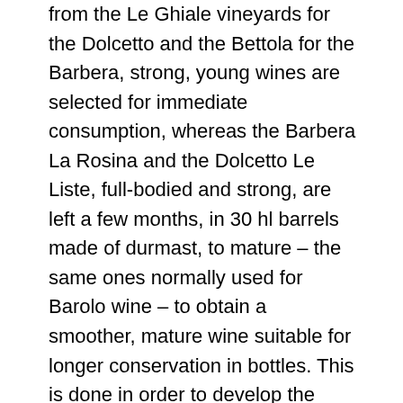from the Le Ghiale vineyards for the Dolcetto and the Bettola for the Barbera, strong, young wines are selected for immediate consumption, whereas the Barbera La Rosina and the Dolcetto Le Liste, full-bodied and strong, are left a few months, in 30 hl barrels made of durmast, to mature – the same ones normally used for Barolo wine – to obtain a smoother, mature wine suitable for longer conservation in bottles. This is done in order to develop the typical scents and tastes of the vines, trying to improve but not to transform them in the attempt of pursuing constantly changing trends and customs. The ERBALUNA farm is a family-run company, which personally takes care of every aspect of the processing of its products: from the vine to the sale. The harvest takes place by hand, punctual as tradition commands, according to the delicate times of the right ripening, verified daily with careful analysis. Severino and Andrea have inherited the passion and love for this work from various generations of winemakers: tiring, but certainly of